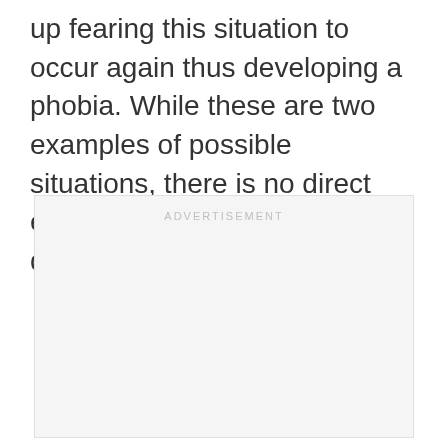up fearing this situation to occur again thus developing a phobia. While these are two examples of possible situations, there is no direct experience that can lead to the development of Aquaphobia.
[Figure (other): Advertisement placeholder box with light gray background and 'ADVERTISEMENT' label at the top center]